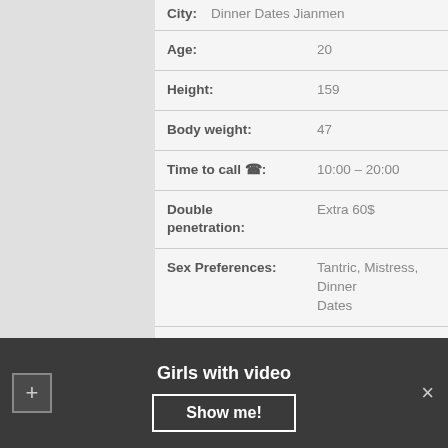| Field | Value |
| --- | --- |
| City: | Dinner Dates Jianmen |
| Age: | 20 |
| Height: | 159 |
| Body weight: | 47 |
| Time to call ☎: | 10:00 – 20:00 |
| Double penetration: | Extra 60$ |
| Sex Preferences: | Tantric, Mistress, Dinner Dates |
| Outcall: | +taxi |
| One HOUR: | 110$ |
| Couples: | 410$ |
Girls with video
Show me!